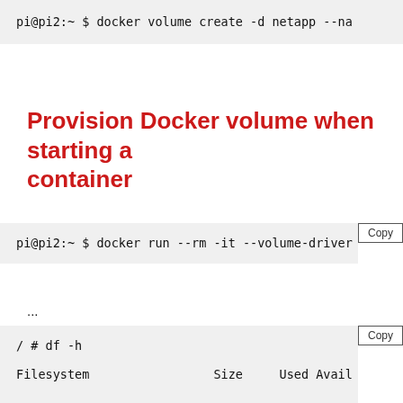[Figure (screenshot): Code block showing: pi@pi2:~ $ docker volume create -d netapp --na (truncated)]
Provision Docker volume when starting a container
[Figure (screenshot): Code block with Copy button showing: pi@pi2:~ $ docker run --rm -it --volume-driver (truncated)]
...
[Figure (screenshot): Code block with Copy button showing: / # df -h

Filesystem    Size    Used  Avail (truncated)]